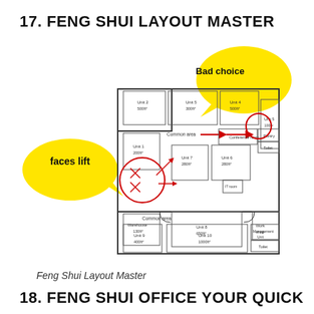17. FENG SHUI LAYOUT MASTER
[Figure (engineering-diagram): Floor plan of an office building showing multiple units (Unit 1-10, Warehouse, Conference room, Pantry, Toilet, Workshop, Management Unit). Annotated with a yellow speech bubble on the left labeled 'faces lift', a yellow circle on the top right labeled 'Bad choice', and a red circle around the lift/entrance area with red arrows showing direction of common area corridor.]
Feng Shui Layout Master
18. FENG SHUI OFFICE YOUR QUICK